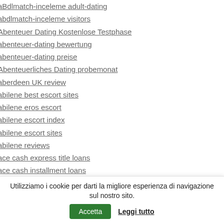aBdlmatch-inceleme adult-dating
abdlmatch-inceleme visitors
Abenteuer Dating Kostenlose Testphase
abenteuer-dating bewertung
abenteuer-dating preise
Abenteuerliches Dating probemonat
aberdeen UK review
abilene best escort sites
abilene eros escort
abilene escort index
abilene escort sites
abilene reviews
ace cash express title loans
ace cash installment loans
ace title loans
AceBook see the site
Utilizziamo i cookie per darti la migliore esperienza di navigazione sul nostro sito. Accetta Leggi tutto